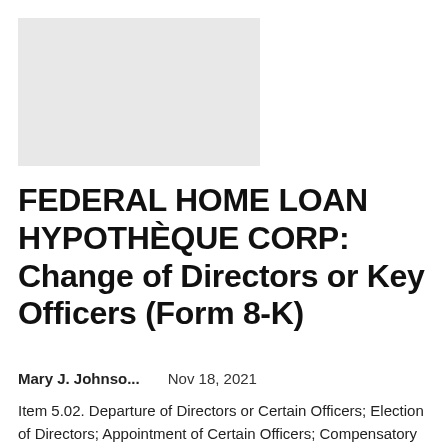[Figure (other): Light gray rectangular image placeholder]
FEDERAL HOME LOAN HYPOTHÈQUE CORP: Change of Directors or Key Officers (Form 8-K)
Mary J. Johnso...    Nov 18, 2021
Item 5.02. Departure of Directors or Certain Officers; Election of Directors; Appointment of Certain Officers; Compensatory Arrangements of Certain Officers. On November 17, 2021, the Federal Housing Finance Agency (FHFA) released the...